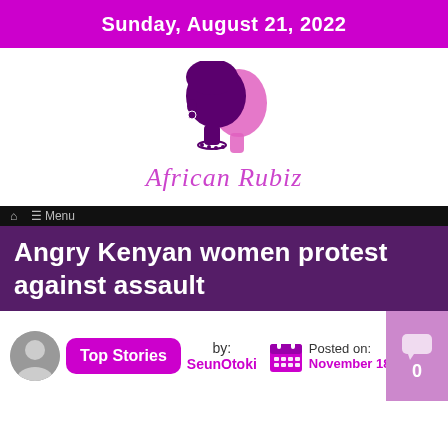Sunday, August 21, 2022
[Figure (logo): African Rubiz logo: purple silhouette of an African woman's profile with pink face, with italic script text 'African Rubiz' in pink below]
Angry Kenyan women protest against assault
Top Stories
by: SeunOtoki
Posted on: November 18, 2014
0